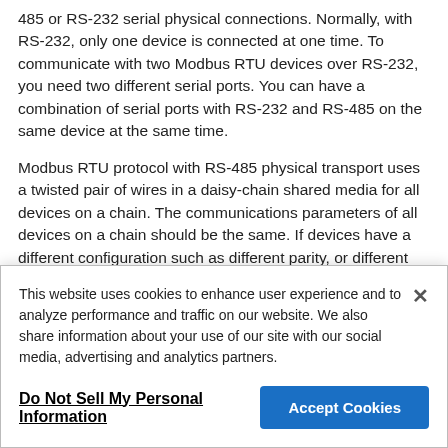485 or RS-232 serial physical connections. Normally, with RS-232, only one device is connected at one time. To communicate with two Modbus RTU devices over RS-232, you need two different serial ports. You can have a combination of serial ports with RS-232 and RS-485 on the same device at the same time.
Modbus RTU protocol with RS-485 physical transport uses a twisted pair of wires in a daisy-chain shared media for all devices on a chain. The communications parameters of all devices on a chain should be the same. If devices have a different configuration such as different parity, or different baud rate, then different
This website uses cookies to enhance user experience and to analyze performance and traffic on our website. We also share information about your use of our site with our social media, advertising and analytics partners.
Do Not Sell My Personal Information
Accept Cookies